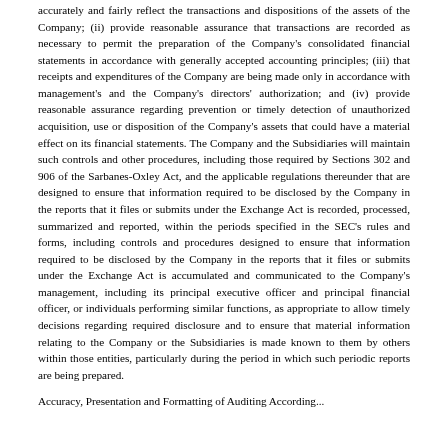accurately and fairly reflect the transactions and dispositions of the assets of the Company; (ii) provide reasonable assurance that transactions are recorded as necessary to permit the preparation of the Company's consolidated financial statements in accordance with generally accepted accounting principles; (iii) that receipts and expenditures of the Company are being made only in accordance with management's and the Company's directors' authorization; and (iv) provide reasonable assurance regarding prevention or timely detection of unauthorized acquisition, use or disposition of the Company's assets that could have a material effect on its financial statements. The Company and the Subsidiaries will maintain such controls and other procedures, including those required by Sections 302 and 906 of the Sarbanes-Oxley Act, and the applicable regulations thereunder that are designed to ensure that information required to be disclosed by the Company in the reports that it files or submits under the Exchange Act is recorded, processed, summarized and reported, within the periods specified in the SEC's rules and forms, including controls and procedures designed to ensure that information required to be disclosed by the Company in the reports that it files or submits under the Exchange Act is accumulated and communicated to the Company's management, including its principal executive officer and principal financial officer, or individuals performing similar functions, as appropriate to allow timely decisions regarding required disclosure and to ensure that material information relating to the Company or the Subsidiaries is made known to them by others within those entities, particularly during the period in which such periodic reports are being prepared.
Accuracy, Presentation and Formatting of Auditing According...